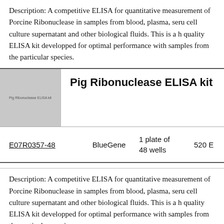Description: A competitive ELISA for quantitative measurement of Porcine Ribonuclease in samples from blood, plasma, serum, cell culture supernatant and other biological fluids. This is a high quality ELISA kit developped for optimal performance with samples from the particular species.
[Figure (photo): Product image placeholder showing gray box with text 'Pig Ribonuclease ELISA kit']
Pig Ribonuclease ELISA kit
| Catalog Number | Supplier | Quantity | Price |
| --- | --- | --- | --- |
| E07R0357-48 | BlueGene | 1 plate of 48 wells | 520 E |
Description: A competitive ELISA for quantitative measurement of Porcine Ribonuclease in samples from blood, plasma, serum, cell culture supernatant and other biological fluids. This is a high quality ELISA kit developped for optimal performance with samples from the particular species.
Pig Ribonuclease ELISA kit